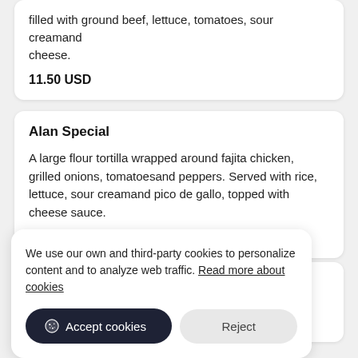filled with ground beef, lettuce, tomatoes, sour cream and cheese.
11.50 USD
Alan Special
A large flour tortilla wrapped around fajita chicken, grilled onions, tomatoesand peppers. Served with rice, lettuce, sour creamand pico de gallo, topped with cheese sauce.
10.75 USD
We use our own and third-party cookies to personalize content and to analyze web traffic. Read more about cookies
Accept cookies
Reject